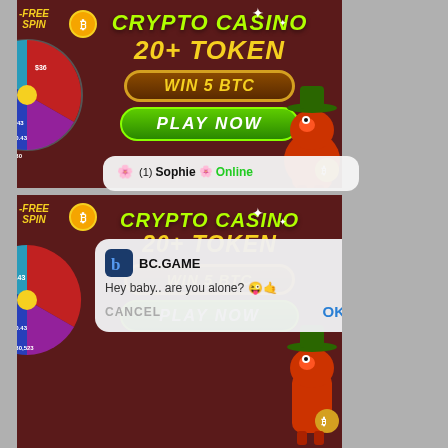[Figure (screenshot): Screenshot showing two BC.GAME crypto casino advertisement banners (dark red background, showing 'CRYPTO CASINO 20+ TOKEN', 'WIN 5 BTC', 'PLAY NOW' buttons, spin wheel, cowboy dinosaur character), with an overlapping iOS-style notification popup reading '🌸 (1) Sophie 🌸 Online' and 'Hey baby.. are you alone? 😜' with CANCEL and OK buttons.]